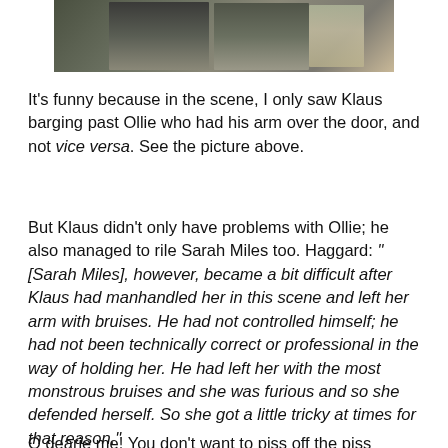[Figure (photo): Photograph of two people, partially cropped at bottom of frame, one appearing to hold the door area]
It's funny because in the scene, I only saw Klaus barging past Ollie who had his arm over the door, and not vice versa.  See the picture above.
But Klaus didn't only have problems with Ollie; he also managed to rile Sarah Miles too.  Haggard:  "[Sarah Miles], however, became a bit difficult after Klaus had manhandled her in this scene and left her arm with bruises.  He had not controlled himself; he had not been technically correct or professional in the way of holding her.  He had left her with the most monstrous bruises and she was furious and so she defended herself.  So she got a little tricky at times for that reason."
O dearie me! You don't want to piss off the piss drinker